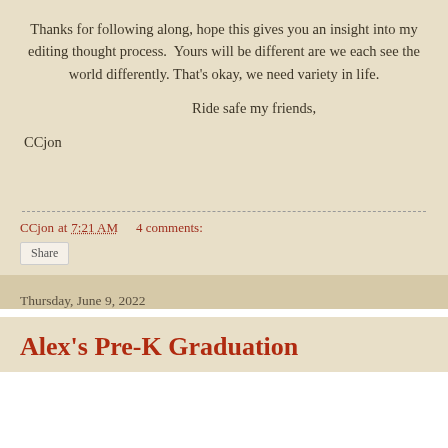Thanks for following along, hope this gives you an insight into my editing thought process.  Yours will be different are we each see the world differently. That's okay, we need variety in life.
Ride safe my friends,
CCjon
CCjon at 7:21 AM    4 comments:
Share
Thursday, June 9, 2022
Alex's Pre-K Graduation